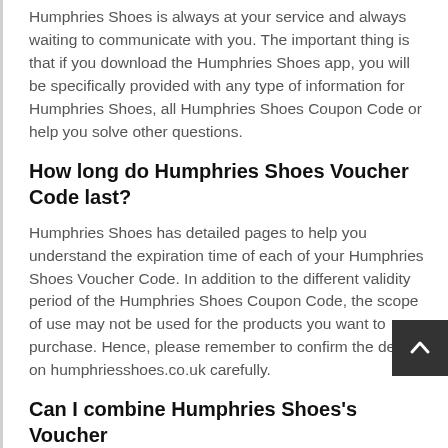Humphries Shoes is always at your service and always waiting to communicate with you. The important thing is that if you download the Humphries Shoes app, you will be specifically provided with any type of information for Humphries Shoes, all Humphries Shoes Coupon Code or help you solve other questions.
How long do Humphries Shoes Voucher Code last?
Humphries Shoes has detailed pages to help you understand the expiration time of each of your Humphries Shoes Voucher Code. In addition to the different validity period of the Humphries Shoes Coupon Code, the scope of use may not be used for the products you want to purchase. Hence, please remember to confirm the details on humphriesshoes.co.uk carefully.
Can I combine Humphries Shoes's Voucher